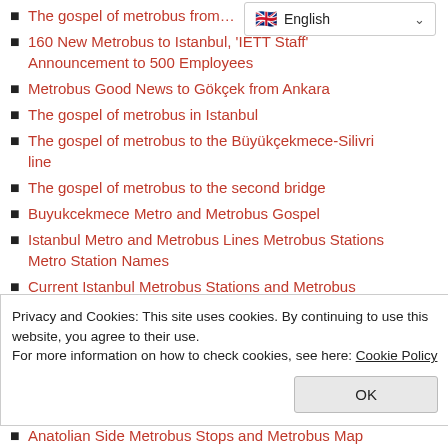[Figure (screenshot): Language selector dropdown showing English with flag icon and dropdown arrow]
The gospel of metrobus from … ul
160 New Metrobus to Istanbul, 'IETT Staff' Announcement to 500 Employees
Metrobus Good News to Gökçek from Ankara
The gospel of metrobus in Istanbul
The gospel of metrobus to the Büyükçekmece-Silivri line
The gospel of metrobus to the second bridge
Buyukcekmece Metro and Metrobus Gospel
Istanbul Metro and Metrobus Lines Metrobus Stations Metro Station Names
Current Istanbul Metrobus Stations and Metrobus
Privacy and Cookies: This site uses cookies. By continuing to use this website, you agree to their use.
For more information on how to check cookies, see here: Cookie Policy
Anatolian Side Metrobus Stops and Metrobus Map